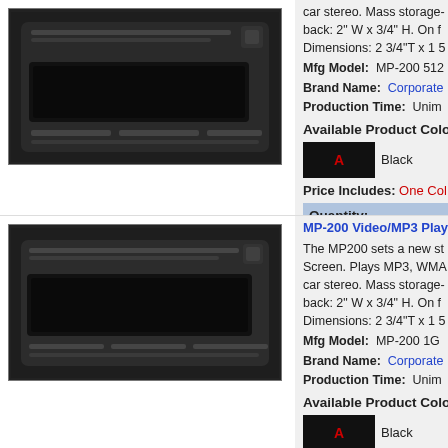[Figure (photo): MP-200 Video/MP3 Player device shown from above at an angle, black colored device]
car stereo. Mass storage- MOQ: 100. Accessories: back: 2" W x 3/4" H. On f Dimensions: 2 3/4"T x 1 5
Mfg Model: MP-200 512
Brand Name: Corporate
Production Time: Unim
Available Product Colo
Black
Price Includes: One Col
Quantity:
Your Price:
*Pricing and availability s
[Figure (photo): MP-200 Video/MP3 Player device shown from the side, black colored device]
MP-200 Video/MP3 Play
The MP200 sets a new st Playback to your car ster Screen. Plays MP3, WMA car stereo. Mass storage- MOQ: 100. Accessories: back: 2" W x 3/4" H. On f Dimensions: 2 3/4"T x 1 5
Mfg Model: MP-200 1G
Brand Name: Corporate
Production Time: Unim
Available Product Colo
Black
Price Includes: One Col
Quantity:
Your Price:
*Pricing and availability s